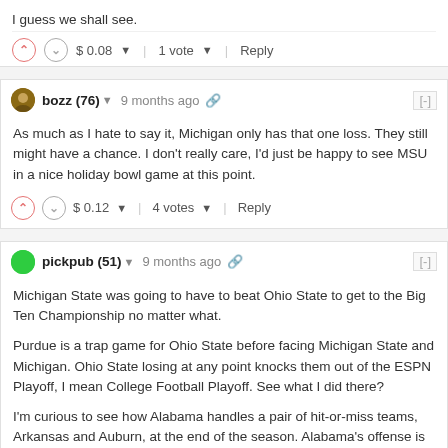I guess we shall see.
$ 0.08  1 vote  Reply
bozz (76) 9 months ago
As much as I hate to say it, Michigan only has that one loss. They still might have a chance. I don't really care, I'd just be happy to see MSU in a nice holiday bowl game at this point.
$ 0.12  4 votes  Reply
pickpub (51) 9 months ago
Michigan State was going to have to beat Ohio State to get to the Big Ten Championship no matter what.

Purdue is a trap game for Ohio State before facing Michigan State and Michigan. Ohio State losing at any point knocks them out of the ESPN Playoff, I mean College Football Playoff. See what I did there?

I'm curious to see how Alabama handles a pair of hit-or-miss teams, Arkansas and Auburn, at the end of the season. Alabama's offense is inconsistent and the defense can be exploited. To beat Alabama, you need your Quarterback to be spot-on and turnovers have to be minimal. LSU lost to Alabama because Max Johnson was not mobile enough to